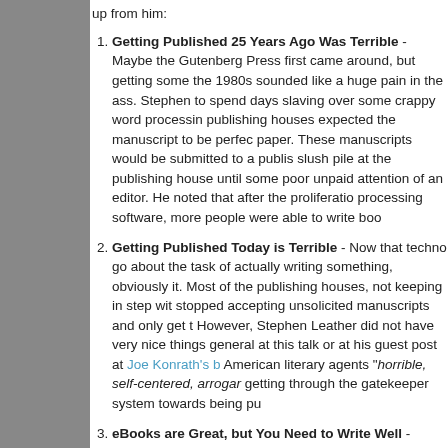up from him:
Getting Published 25 Years Ago Was Terrible - Maybe the Gutenberg Press first came around, but getting some the 1980s sounded like a huge pain in the ass. Stephen to spend days slaving over some crappy word processing publishing houses expected the manuscript to be perfect paper. These manuscripts would be submitted to a publis slush pile at the publishing house until some poor unpaid attention of an editor. He noted that after the proliferation processing software, more people were able to write boo
Getting Published Today is Terrible - Now that techno go about the task of actually writing something, obviously it. Most of the publishing houses, not keeping in step with stopped accepting unsolicited manuscripts and only get t However, Stephen Leather did not have very nice things general at this talk or at his guest post at Joe Konrath's b American literary agents "horrible, self-centered, arrogant getting through the gatekeeper system towards being pu
eBooks are Great, but You Need to Write Well - Steph of his talk to discussing how eBooks are marketed and s also how he had some success with self-publishing his c with this new technology in place, it was a great time to b between readers and writers, but he wasn't trying to prea